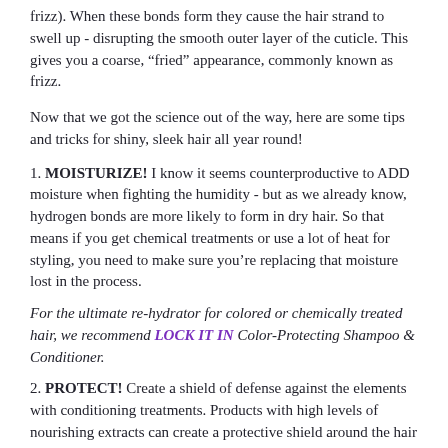frizz). When these bonds form they cause the hair strand to swell up - disrupting the smooth outer layer of the cuticle. This gives you a coarse, "fried" appearance, commonly known as frizz.
Now that we got the science out of the way, here are some tips and tricks for shiny, sleek hair all year round!
1. MOISTURIZE! I know it seems counterproductive to ADD moisture when fighting the humidity - but as we already know, hydrogen bonds are more likely to form in dry hair. So that means if you get chemical treatments or use a lot of heat for styling, you need to make sure you're replacing that moisture lost in the process.
For the ultimate re-hydrator for colored or chemically treated hair, we recommend LOCK IT IN Color-Protecting Shampoo & Conditioner.
2. PROTECT! Create a shield of defense against the elements with conditioning treatments. Products with high levels of nourishing extracts can create a protective shield around the hair strand, helping to prevent the disruptive hydrogen bonds which cause frizz.